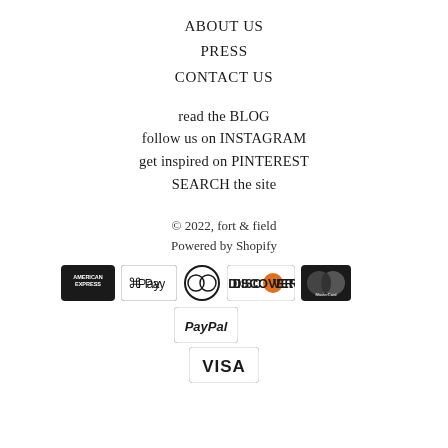ABOUT US
PRESS
CONTACT US
read the BLOG
follow us on INSTAGRAM
get inspired on PINTEREST
SEARCH the site
© 2022, fort & field
Powered by Shopify
[Figure (logo): Payment method logos: American Express, Apple Pay, Diners Club, Discover, MasterCard, PayPal, Visa]